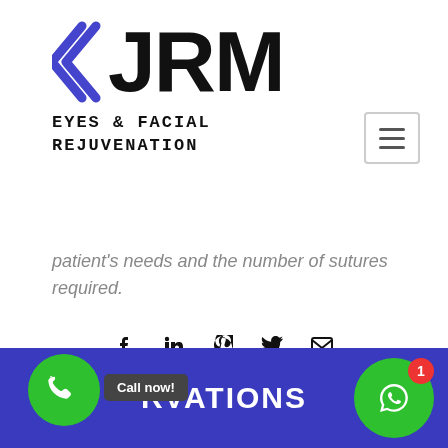[Figure (logo): JRM Eyes & Facial Rejuvenation logo with blue chevron and large JRM text]
patient's needs and the number of sutures required.
[Figure (other): Social media share icons: Facebook, LinkedIn, Pinterest, Twitter, Email]
RVATIONS — Call now! footer bar with phone and WhatsApp buttons